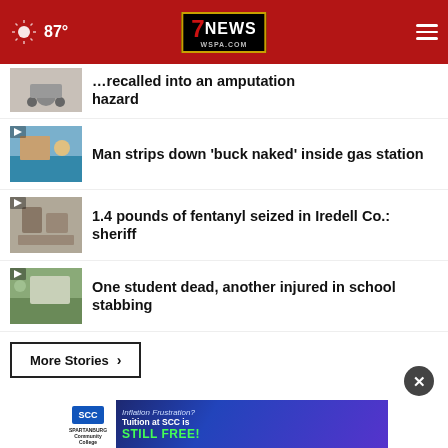87° | 7NEWS WSPA.COM
...recalled into an amputation hazard
Man strips down 'buck naked' inside gas station
1.4 pounds of fentanyl seized in Iredell Co.: sheriff
One student dead, another injured in school stabbing
More Stories ›
[Figure (screenshot): SCC Spartanburg Community College ad banner: Inflation Frustration? Tuition at SCC is STILL FREE!]